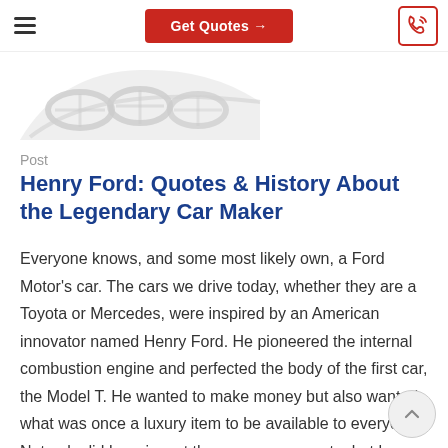Get Quotes →
[Figure (illustration): Partial view of a car (front grille/windshield area) in light gray tones, cropped at top of page]
Post
Henry Ford: Quotes & History About the Legendary Car Maker
Everyone knows, and some most likely own, a Ford Motor's car. The cars we drive today, whether they are a Toyota or Mercedes, were inspired by an American innovator named Henry Ford. He pioneered the internal combustion engine and perfected the body of the first car, the Model T. He wanted to make money but also wanted what was once a luxury item to be available to everyone. Not only did he reinvent the way we commute, but he transformed the middle class, the living wage, and the working conditions of his own